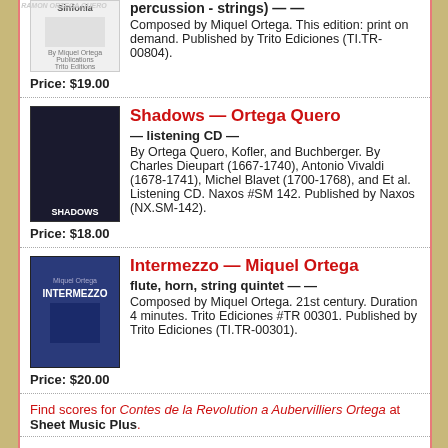percussion - strings) — — Composed by Miquel Ortega. This edition: print on demand. Published by Trito Ediciones (TI.TR-00804).
Price: $19.00
Shadows — Ortega Quero
— listening CD —
By Ortega Quero, Kofler, and Buchberger. By Charles Dieupart (1667-1740), Antonio Vivaldi (1678-1741), Michel Blavet (1700-1768), and Et al. Listening CD. Naxos #SM 142. Published by Naxos (NX.SM-142).
Price: $18.00
Intermezzo — Miquel Ortega
flute, horn, string quintet — —
Composed by Miquel Ortega. 21st century. Duration 4 minutes. Trito Ediciones #TR 00301. Published by Trito Ediciones (TI.TR-00301).
Price: $20.00
Find scores for Contes de la Revolution a Aubervilliers Ortega at Sheet Music Plus.